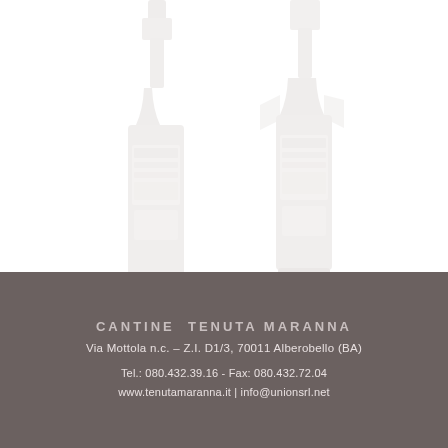[Figure (photo): Two wine bottles with white/light labels shown against a white background, faintly visible, partially cropped at top]
CANTINE TENUTA MARANNA
Via Mottola n.c. – Z.I. D1/3, 70011 Alberobello (BA)
Tel.: 080.432.39.16 - Fax: 080.432.72.04
www.tenutamaranna.it | info@unionsrl.net